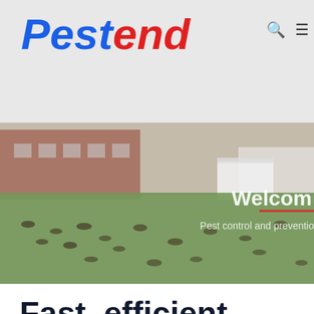Pest end
[Figure (photo): Aerial/ground level photo of a green field with molehill mounds scattered across it, with a red-brick building and fencing in the background. Overlaid text reads 'Welcom' and 'Pest control and preventio' (partially cropped).]
Fast, efficient pest control